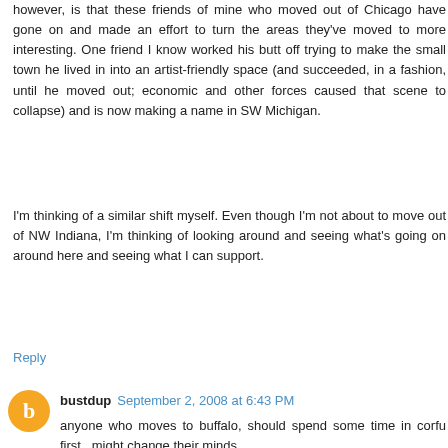however, is that these friends of mine who moved out of Chicago have gone on and made an effort to turn the areas they've moved to more interesting. One friend I know worked his butt off trying to make the small town he lived in into an artist-friendly space (and succeeded, in a fashion, until he moved out; economic and other forces caused that scene to collapse) and is now making a name in SW Michigan.
I'm thinking of a similar shift myself. Even though I'm not about to move out of NW Indiana, I'm thinking of looking around and seeing what's going on around here and seeing what I can support.
Reply
bustdup  September 2, 2008 at 6:43 PM
anyone who moves to buffalo, should spend some time in corfu first...might change their minds.
Reply